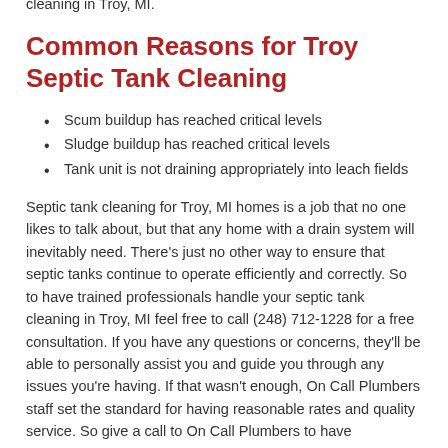to (248) 712-1228 and set an appointment. Cleaners in the field will be more than happy to assist you with septic tank cleaning in Troy, MI.
Common Reasons for Troy Septic Tank Cleaning
Scum buildup has reached critical levels
Sludge buildup has reached critical levels
Tank unit is not draining appropriately into leach fields
Septic tank cleaning for Troy, MI homes is a job that no one likes to talk about, but that any home with a drain system will inevitably need. There’s just no other way to ensure that septic tanks continue to operate efficiently and correctly. So to have trained professionals handle your septic tank cleaning in Troy, MI feel free to call (248) 712-1228 for a free consultation. If you have any questions or concerns, they’ll be able to personally assist you and guide you through any issues you’re having. If that wasn’t enough, On Call Plumbers staff set the standard for having reasonable rates and quality service. So give a call to On Call Plumbers to have professional septic tank cleaning in Troy, MI today.
Related Services Include